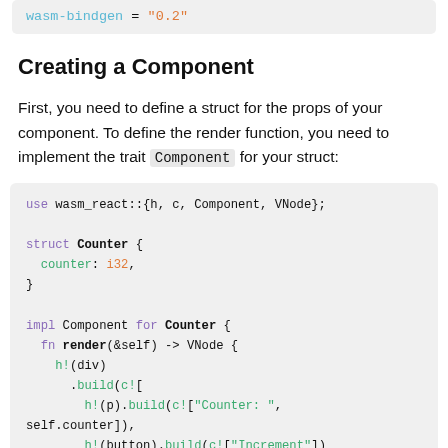[Figure (screenshot): Top code snippet showing: wasm-bindgen = "0.2"]
Creating a Component
First, you need to define a struct for the props of your component. To define the render function, you need to implement the trait Component for your struct:
[Figure (screenshot): Code block showing Rust code: use wasm_react::{h, c, Component, VNode}; struct Counter { counter: i32, } impl Component for Counter { fn render(&self) -> VNode { h!(div).build(c![ h!(p).build(c!["Counter: ", self.counter]), h!(button).build(c!["Increment"]) ...]